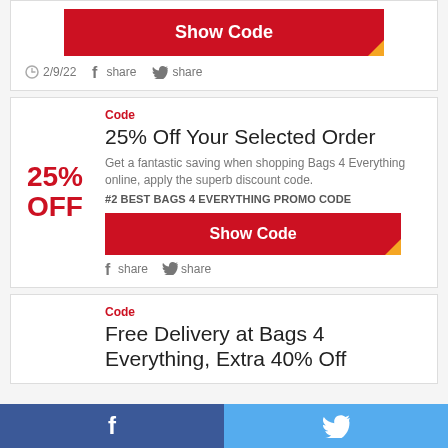Show Code
2/9/22  f share  share
Code
25% Off Your Selected Order
Get a fantastic saving when shopping Bags 4 Everything online, apply the superb discount code. #2 BEST BAGS 4 EVERYTHING PROMO CODE
Show Code
f share  share
Code
Free Delivery at Bags 4 Everything, Extra 40% Off
f  (twitter bird)